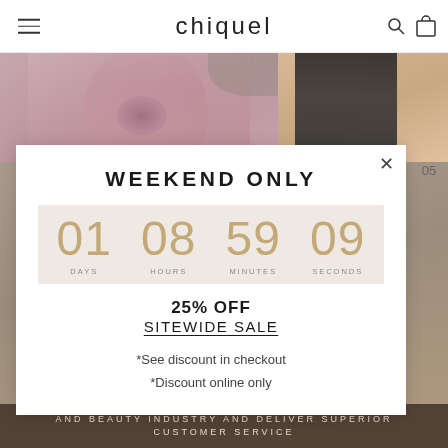chiquel
[Figure (photo): Fashion photo showing two models wearing tops — left model in dusty rose/mauve knot-front top, right model partially visible in dark top with peach background]
WEEKEND ONLY
[Figure (infographic): Countdown timer showing 01 DAYS, 08 HOURS, 59 MINUTES, 09 SECONDS on a beige background]
25% OFF
SITEWIDE SALE
*See discount in checkout
*Discount online only
AND BEAUTY INDUSTRY AND DELIVER SUPERIOR CUSTOMER SERVICE